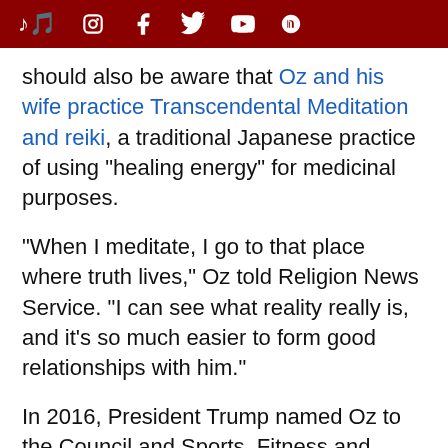TikTok Instagram Facebook Twitter YouTube Pinterest
should also be aware that Oz and his wife practice Transcendental Meditation and reiki, a traditional Japanese practice of using "healing energy" for medicinal purposes.
"When I meditate, I go to that place where truth lives," Oz told Religion News Service. "I can see what reality really is, and it's so much easier to form good relationships with him."
In 2016, President Trump named Oz to the Council and Sports, Fitness and Nutrition. Oz subsequently endorsed the use of the malaria drug hydroxychloroquine to combat COVID-19, which Trump also touted in office.